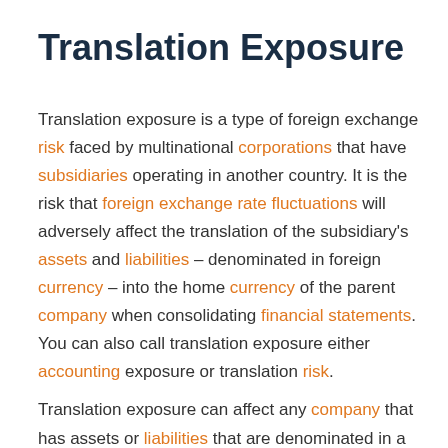Translation Exposure
Translation exposure is a type of foreign exchange risk faced by multinational corporations that have subsidiaries operating in another country. It is the risk that foreign exchange rate fluctuations will adversely affect the translation of the subsidiary's assets and liabilities – denominated in foreign currency – into the home currency of the parent company when consolidating financial statements. You can also call translation exposure either accounting exposure or translation risk.
Translation exposure can affect any company that has assets or liabilities that are denominated in a foreign currency or any company that operates in a foreign